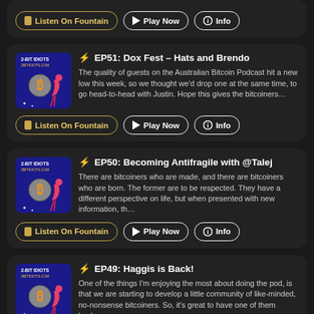[Figure (screenshot): Top partial card with buttons (Listen On Fountain, Play Now, Info) visible at top of page]
EP51: Dox Fest – Hats and Brendo
The quality of guests on the Australian Bitcoin Podcast hit a new low this week, so we thought we'd drop one at the same time, to go head-to-head with Justin. Hope this gives the bitcoiners…
Listen On Fountain | Play Now | Info
EP50: Becoming Antifragile with @Talej
There are bitcoiners who are made, and there are bitcoiners who are born. The former are to be respected. They have a different perspective on life, but when presented with new information, th…
Listen On Fountain | Play Now | Info
EP49: Haggis is Back!
One of the things I'm enjoying the most about doing the pod, is that we are starting to develop a little community of like-minded, no-nonsense bitcoiners. So, it's great to have one of them back…